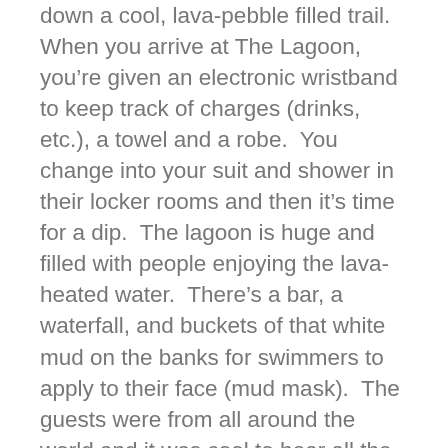down a cool, lava-pebble filled trail.  When you arrive at The Lagoon, you're given an electronic wristband to keep track of charges (drinks, etc.), a towel and a robe.  You change into your suit and shower in their locker rooms and then it's time for a dip.  The lagoon is huge and filled with people enjoying the lava-heated water.  There's a bar, a waterfall, and buckets of that white mud on the banks for swimmers to apply to their face (mud mask).  The guests were from all around the world and it was cool to hear all the different languages.  While the water was Jacuzzi-level warm, and the fact that it started snowing pretty heavily just added to the